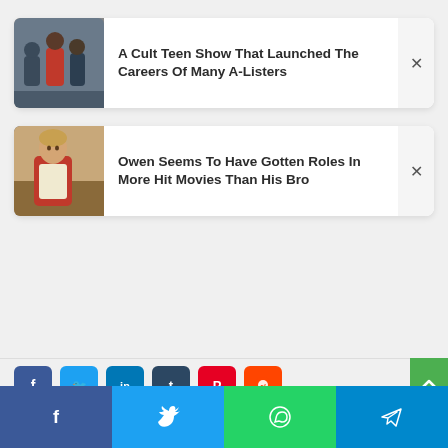[Figure (screenshot): Article card with thumbnail image of a group of teens, title: A Cult Teen Show That Launched The Careers Of Many A-Listers]
[Figure (screenshot): Article card with thumbnail image of a man in a red jacket and apron, title: Owen Seems To Have Gotten Roles In More Hit Movies Than His Bro]
[Figure (infographic): Social share buttons: Facebook, Twitter, LinkedIn, Tumblr, Pinterest, Reddit. Scroll-to-top green button. Bottom mobile share bar: Facebook, Twitter, WhatsApp, Telegram.]